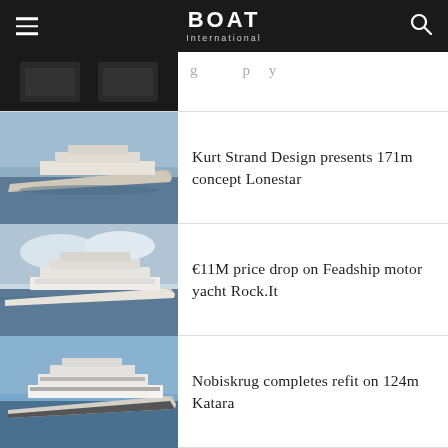BOAT International
[Figure (photo): Partially visible yacht interior photo (cropped at top)]
...g...p...y (partially visible text)
[Figure (photo): Aerial/side view of a large sleek superyacht concept on calm water]
Kurt Strand Design presents 171m concept Lonestar
[Figure (photo): Side view of Feadship motor yacht Rock.It at sea]
€11M price drop on Feadship motor yacht Rock.It
[Figure (photo): Side view of 124m superyacht Katara at sea]
Nobiskrug completes refit on 124m Katara